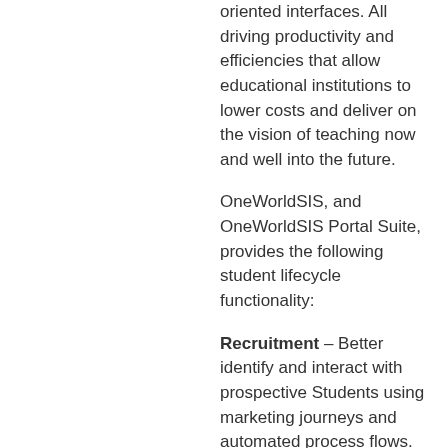oriented interfaces. All driving productivity and efficiencies that allow educational institutions to lower costs and deliver on the vision of teaching now and well into the future.
OneWorldSIS, and OneWorldSIS Portal Suite, provides the following student lifecycle functionality:
Recruitment – Better identify and interact with prospective Students using marketing journeys and automated process flows.